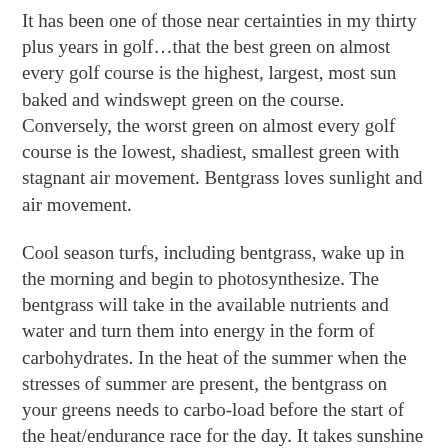It has been one of those near certainties in my thirty plus years in golf…that the best green on almost every golf course is the highest, largest, most sun baked and windswept green on the course. Conversely, the worst green on almost every golf course is the lowest, shadiest, smallest green with stagnant air movement. Bentgrass loves sunlight and air movement.
Cool season turfs, including bentgrass, wake up in the morning and begin to photosynthesize. The bentgrass will take in the available nutrients and water and turn them into energy in the form of carbohydrates. In the heat of the summer when the stresses of summer are present, the bentgrass on your greens needs to carbo-load before the start of the heat/endurance race for the day. It takes sunshine and cooler soil temperatures to do that.